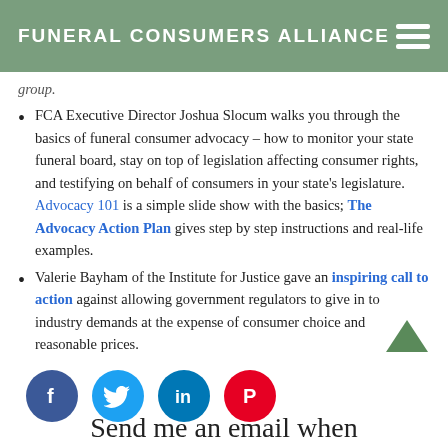FUNERAL CONSUMERS ALLIANCE
group.
FCA Executive Director Joshua Slocum walks you through the basics of funeral consumer advocacy – how to monitor your state funeral board, stay on top of legislation affecting consumer rights, and testifying on behalf of consumers in your state's legislature. Advocacy 101 is a simple slide show with the basics; The Advocacy Action Plan gives step by step instructions and real-life examples.
Valerie Bayham of the Institute for Justice gave an inspiring call to action against allowing government regulators to give in to industry demands at the expense of consumer choice and reasonable prices.
[Figure (other): Social media icons: Facebook, Twitter, LinkedIn, Pinterest]
Send me an email when